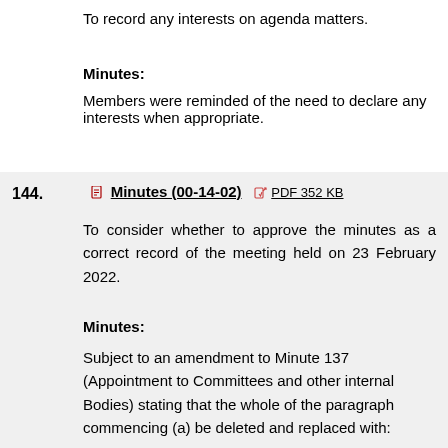To record any interests on agenda matters.
Minutes:
Members were reminded of the need to declare any interests when appropriate.
144.   Minutes (00-14-02)   PDF 352 KB
To consider whether to approve the minutes as a correct record of the meeting held on 23 February 2022.
Minutes:
Subject to an amendment to Minute 137 (Appointment to Committees and other internal Bodies) stating that the whole of the paragraph commencing (a) be deleted and replaced with: